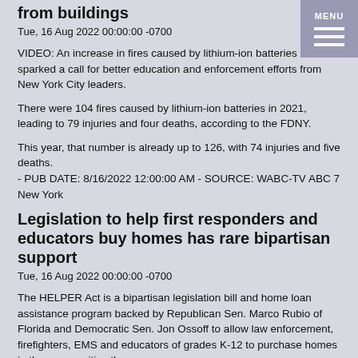from buildings
Tue, 16 Aug 2022 00:00:00 -0700
VIDEO: An increase in fires caused by lithium-ion batteries has sparked a call for better education and enforcement efforts from New York City leaders.
There were 104 fires caused by lithium-ion batteries in 2021, leading to 79 injuries and four deaths, according to the FDNY.
This year, that number is already up to 126, with 74 injuries and five deaths.
- PUB DATE: 8/16/2022 12:00:00 AM - SOURCE: WABC-TV ABC 7 New York
Legislation to help first responders and educators buy homes has rare bipartisan support
Tue, 16 Aug 2022 00:00:00 -0700
The HELPER Act is a bipartisan legislation bill and home loan assistance program backed by Republican Sen. Marco Rubio of Florida and Democratic Sen. Jon Ossoff to allow law enforcement, firefighters, EMS and educators of grades K-12 to purchase homes in the communities they serve.
The HELPER Act, or Homes for Every Local Protector, Educator, and